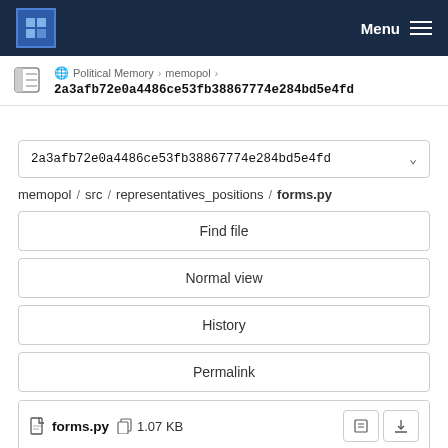Menu
Political Memory › memopol › 2a3afb72e0a4486ce53fb38867774e284bd5e4fd
2a3afb72e0a4486ce53fb38867774e284bd5e4fd
memopol / src / representatives_positions / forms.py
Find file
Normal view
History
Permalink
forms.py  1.07 KB
Newer  Older